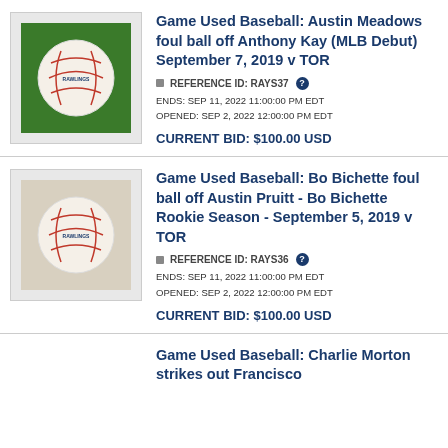[Figure (photo): A game-used MLB baseball resting on green grass]
Game Used Baseball: Austin Meadows foul ball off Anthony Kay (MLB Debut) September 7, 2019 v TOR
REFERENCE ID: RAYS37
ENDS: SEP 11, 2022 11:00:00 PM EDT
OPENED: SEP 2, 2022 12:00:00 PM EDT
CURRENT BID: $100.00 USD
[Figure (photo): A game-used MLB baseball resting on a light surface]
Game Used Baseball: Bo Bichette foul ball off Austin Pruitt - Bo Bichette Rookie Season - September 5, 2019 v TOR
REFERENCE ID: RAYS36
ENDS: SEP 11, 2022 11:00:00 PM EDT
OPENED: SEP 2, 2022 12:00:00 PM EDT
CURRENT BID: $100.00 USD
Game Used Baseball: Charlie Morton strikes out Francisco